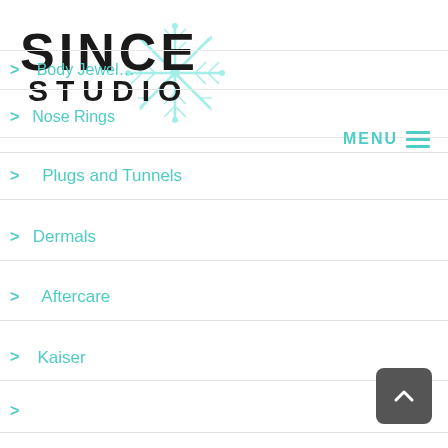[Figure (logo): Since Studio logo with snowflake graphic — bold text 'SINCE' on top, 'STUDIO' below, teal snowflake overlapping on the right side]
> 　　Body Jewel…
> 　Nose Rings
MENU ≡
> 　　　Plugs and Tunnels
> 　　Dermals
> 　　　　Aftercare
> 　　　Kaiser
>
[Figure (other): Dark grey rounded square button with white upward-pointing chevron arrow (scroll-to-top button)]